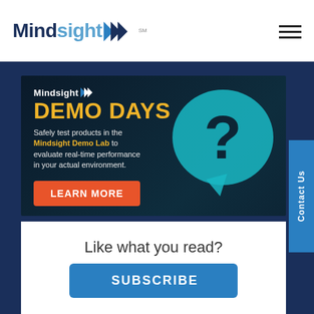Mindsight
[Figure (infographic): Mindsight Demo Days banner ad with question mark speech bubble. Text: 'Mindsight DEMO DAYS - Safely test products in the Mindsight Demo Lab to evaluate real-time performance in your actual environment. LEARN MORE']
Like what you read?
SUBSCRIBE